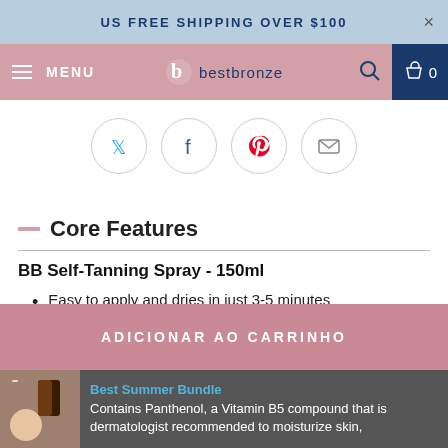US FREE SHIPPING OVER $100
[Figure (screenshot): Navigation bar with hamburger menu, bestbronze logo, search icon, and cart (0)]
[Figure (infographic): Social share icons: Twitter, Facebook, Pinterest, Email]
Core Features
BB Self-Tanning Spray - 150ml
Easy to apply and dries in just 3-5 minutes
Color will develop in only 4-6 hours
ADICIONAR AO CARRINHO
Best Summer Bundle
Contains Panthenol, a Vitamin B5 compound that is dermatologist recommended to moisturize skin,